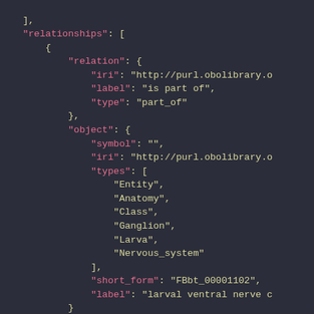JSON code snippet showing relationships, relation (iri, label, type), object (symbol, iri, types: Entity, Anatomy, Class, Ganglion, Larva, Nervous_system), short_form, label fields